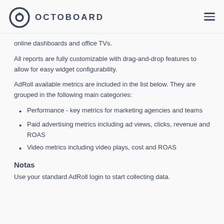OCTOBOARD
online dashboards and office TVs.
All reports are fully customizable with drag-and-drop features to allow for easy widget configurability.
AdRoll available metrics are included in the list below. They are grouped in the following main categories:
Performance - key metrics for marketing agencies and teams
Paid advertising metrics including ad views, clicks, revenue and ROAS
Video metrics including video plays, cost and ROAS
Notas
Use your standard AdRoll login to start collecting data.